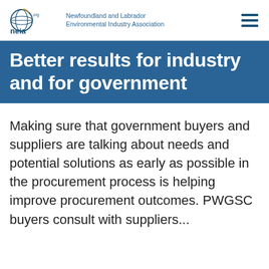neia.org Newfoundland and Labrador Environmental Industry Association
Better results for industry and for government
Making sure that government buyers and suppliers are talking about needs and potential solutions as early as possible in the procurement process is helping improve procurement outcomes. PWGSC buyers consult with suppliers...